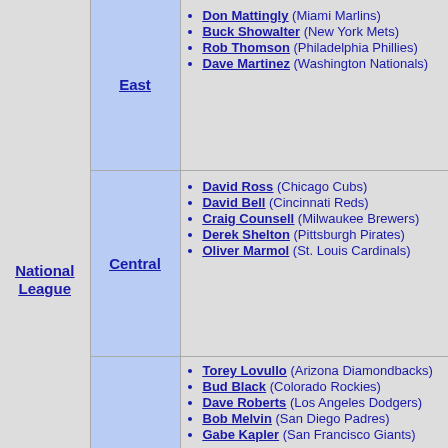| League | Division | Managers/Teams |
| --- | --- | --- |
| National League | East | Don Mattingly (Miami Marlins)
Buck Showalter (New York Mets)
Rob Thomson (Philadelphia Phillies)
Dave Martinez (Washington Nationals) |
| National League | Central | David Ross (Chicago Cubs)
David Bell (Cincinnati Reds)
Craig Counsell (Milwaukee Brewers)
Derek Shelton (Pittsburgh Pirates)
Oliver Marmol (St. Louis Cardinals) |
| National League | West | Torey Lovullo (Arizona Diamondbacks)
Bud Black (Colorado Rockies)
Dave Roberts (Los Angeles Dodgers)
Bob Melvin (San Diego Padres)
Gabe Kapler (San Francisco Giants) |
| Defunct teams |  | Baltimore Orioles (19th century)
Buffalo Bisons
Cleveland Blues (NL)
Cleveland Spiders
Detroit Wolverines
Louisville Colonels
New York Metropolitans
... |